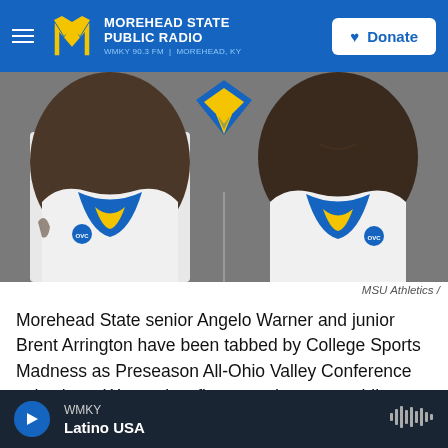Morehead State Public Radio — WMKY 90.3 FM | Morehead, KY — Donate
[Figure (photo): Two Morehead State basketball players in white and blue OVC jerseys, facing camera, with MSU eagle logo between them on gray background]
MSU Athletics /
Morehead State senior Angelo Warner and junior Brent Arrington have been tabbed by College Sports Madness as Preseason All-Ohio Valley Conference selections. Warner is a first-team honoree, while Arrington is a fourth-team choice.
Warner, a native of Orlando, is already 23rd on
WMKY — Latino USA